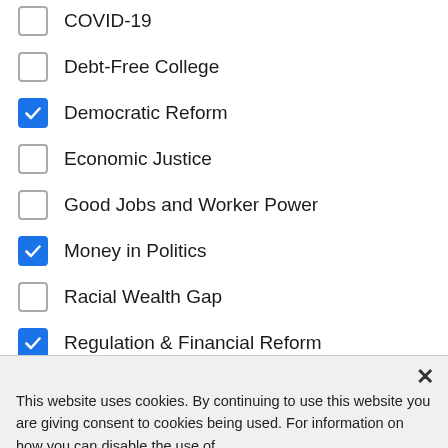COVID-19
Debt-Free College
Democratic Reform
Economic Justice
Good Jobs and Worker Power
Money in Politics
Racial Wealth Gap
Regulation & Financial Reform
Revenue, Taxes and Budget
This website uses cookies. By continuing to use this website you are giving consent to cookies being used. For information on how you can disable the use of